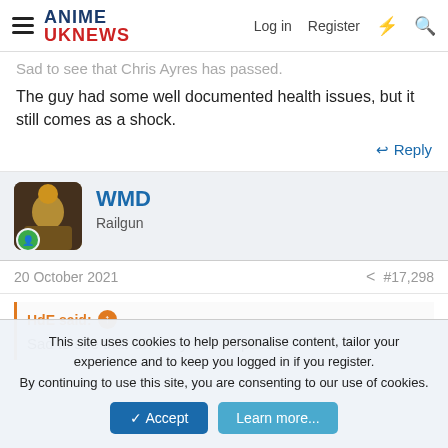ANIME UKNEWS — Log in  Register
Sad to see that Chris Ayres has passed.
The guy had some well documented health issues, but it still comes as a shock.
↩ Reply
WMD
Railgun
20 October 2021   #17,298
HdE said: ⬆
Sad to see that Chris Ayres has passed.
This site uses cookies to help personalise content, tailor your experience and to keep you logged in if you register.
By continuing to use this site, you are consenting to our use of cookies.
Accept  Learn more...